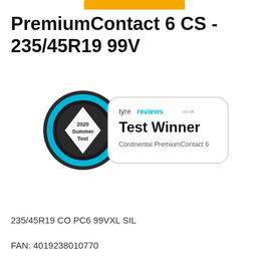[Figure (logo): Orange/yellow horizontal bar at top center, partial Continental logo]
PremiumContact 6 CS - 235/45R19 99V
[Figure (illustration): Tyrereviews.co.uk Test Winner badge for 2020 Summer Test - Continental PremiumContact 6]
235/45R19 CO PC6 99VXL SIL
FAN: 4019238010770